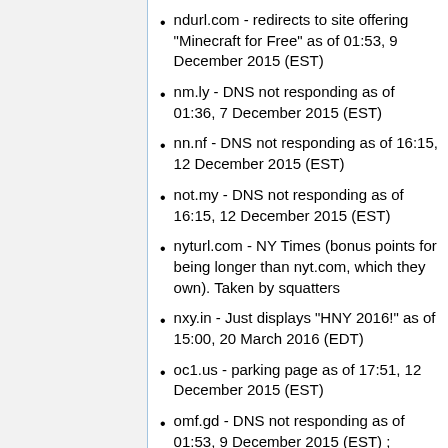ndurl.com - redirects to site offering "Minecraft for Free" as of 01:53, 9 December 2015 (EST)
nm.ly - DNS not responding as of 01:36, 7 December 2015 (EST)
nn.nf - DNS not responding as of 16:15, 12 December 2015 (EST)
not.my - DNS not responding as of 16:15, 12 December 2015 (EST)
nyturl.com - NY Times (bonus points for being longer than nyt.com, which they own). Taken by squatters
nxy.in - Just displays "HNY 2016!" as of 15:00, 20 March 2016 (EDT)
oc1.us - parking page as of 17:51, 12 December 2015 (EST)
omf.gd - DNS not responding as of 01:53, 9 December 2015 (EST) ; Server not responding as of 16:36, 10 December 2015 (EST)